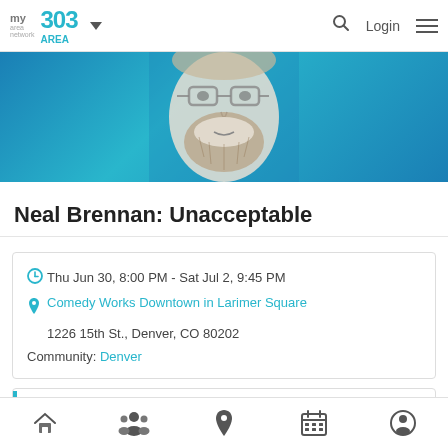my area network | 303 AREA | Login
[Figure (photo): Hero banner showing partial face of a bearded man with glasses on blue gradient background — promotional image for Neal Brennan: Unacceptable]
Neal Brennan: Unacceptable
Thu Jun 30, 8:00 PM - Sat Jul 2, 9:45 PM
Comedy Works Downtown in Larimer Square
1226 15th St., Denver, CO 80202
Community: Denver
Description
Home | Community | Location | Events | Profile